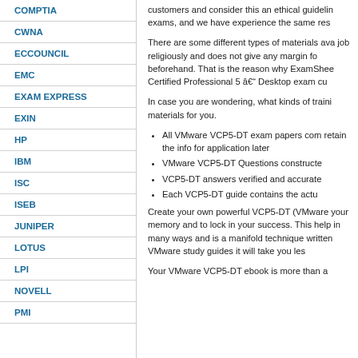COMPTIA
CWNA
ECCOUNCIL
EMC
EXAM EXPRESS
EXIN
HP
IBM
ISC
ISEB
JUNIPER
LOTUS
LPI
NOVELL
PMI
customers and consider this an ethical guideline exams, and we have experience the same res
There are some different types of materials ava job religiously and does not give any margin fo beforehand. That is the reason why ExamShee Certified Professional 5 â€“ Desktop exam cu
In case you are wondering, what kinds of traini materials for you.
All VMware VCP5-DT exam papers com retain the info for application later
VMware VCP5-DT Questions constructe
VCP5-DT answers verified and accurate
Each VCP5-DT guide contains the actu
Create your own powerful VCP5-DT (VMware your memory and to lock in your success. This help in many ways and is a manifold technique written VMware study guides it will take you le
Your VMware VCP5-DT ebook is more than a